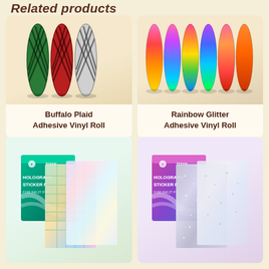Related products
[Figure (photo): Three rolls of Buffalo Plaid Adhesive Vinyl in green, red, and black/white plaid patterns]
Buffalo Plaid Adhesive Vinyl Roll
[Figure (photo): Six rolls of Rainbow Glitter Adhesive Vinyl in multicolor holographic rainbow patterns]
Rainbow Glitter Adhesive Vinyl Roll
[Figure (photo): Holographic Sticker Paper sheets with plaid holographic pattern, shown with product box]
[Figure (photo): Holographic Sticker Paper sheets with silver glitter pattern, shown with product box]